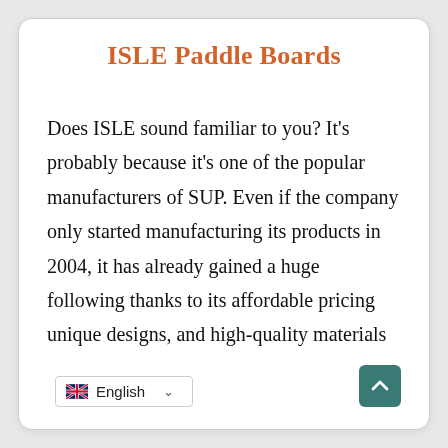ISLE Paddle Boards
Does ISLE sound familiar to you? It's probably because it's one of the popular manufacturers of SUP. Even if the company only started manufacturing its products in 2004, it has already gained a huge following thanks to its affordable pricing unique designs, and high-quality materials